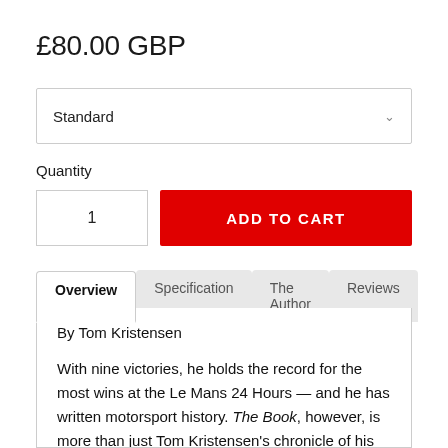£80.00 GBP
Standard
Quantity
1
ADD TO CART
Overview | Specification | The Author | Reviews
By Tom Kristensen
With nine victories, he holds the record for the most wins at the Le Mans 24 Hours — and he has written motorsport history. The Book, however, is more than just Tom Kristensen's chronicle of his successes at Le Mans: it takes the reader on an exciting journey through four decades full of emotions — from petrol pumps at his